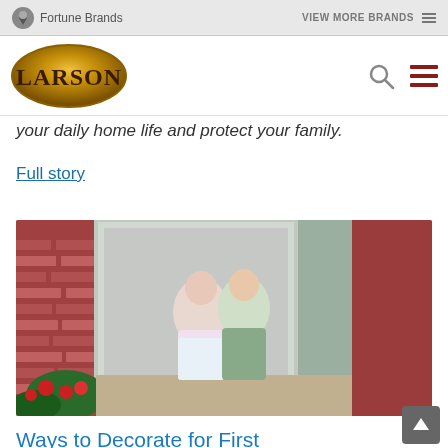Fortune Brands   VIEW MORE BRANDS
[Figure (logo): Larson brand logo — gold oval with LARSON text in serif font]
your daily home life and protect your family.
Full story
[Figure (photo): Two young children — a girl in a watermelon-print dress and a boy in a green shirt and vest — sitting together on a brick porch in front of a storm door with red geraniums nearby]
Ways to Decorate for First Day of School Pict...